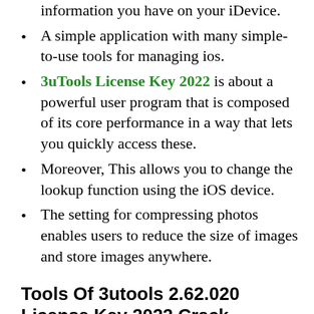information you have on your iDevice.
A simple application with many simple-to-use tools for managing ios.
3uTools License Key 2022 is about a powerful user program that is composed of its core performance in a way that lets you quickly access these.
Moreover, This allows you to change the lookup function using the iOS device.
The setting for compressing photos enables users to reduce the size of images and store images anywhere.
Tools Of 3utools 2.62.020 License Key 2022 Crack